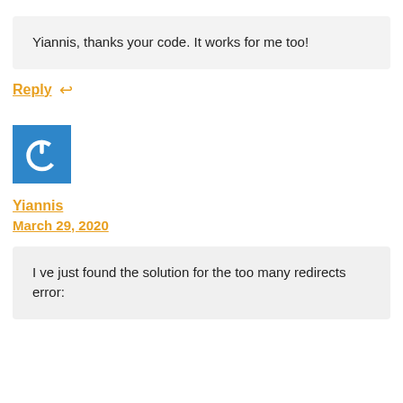Yiannis, thanks your code. It works for me too!
Reply ↩
[Figure (logo): Blue square avatar with white power button icon]
Yiannis
March 29, 2020
I ve just found the solution for the too many redirects error: